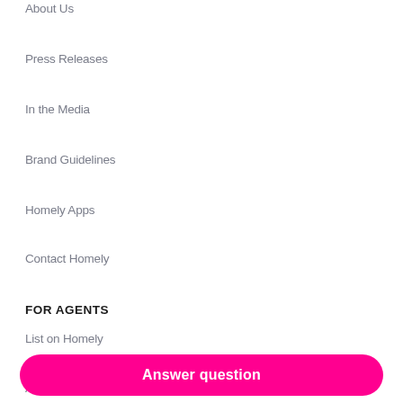About Us
Buy Properties
Press Releases
Rentals
In the Media
Sold Properties
Brand Guidelines
Find Agents
Homely Apps
Real Estate Agencies
Contact Homely
Neighbourhood Profiles
FOR AGENTS
Local Discussions
List on Homely
Property Guides
Change Multiloader
Lifestyle Tips
Advertise on Homely
Property News
Connect Your Utilities
Answer question